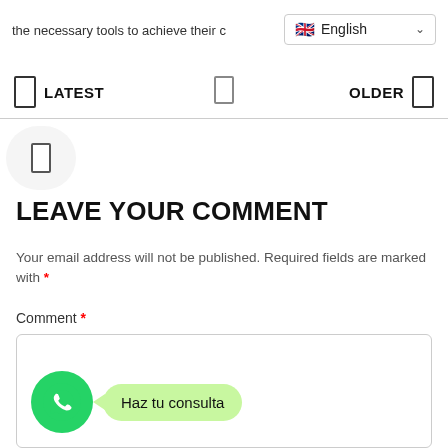the necessary tools to achieve their c
[Figure (screenshot): Language selector dropdown showing UK flag and 'English' with chevron]
LATEST
OLDER
LEAVE YOUR COMMENT
Your email address will not be published. Required fields are marked with *
Comment *
[Figure (screenshot): WhatsApp chat widget with green WhatsApp logo icon and light green speech bubble saying 'Haz tu consulta']